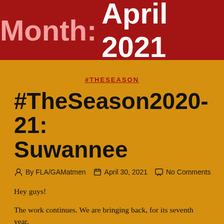Month: April 2021
#THESEASON
#TheSeason2020-21: Suwannee
By FLA/GAMatmen  April 30, 2021  No Comments
Hey guys!
The work continues. We are bringing back, for its seventh year,